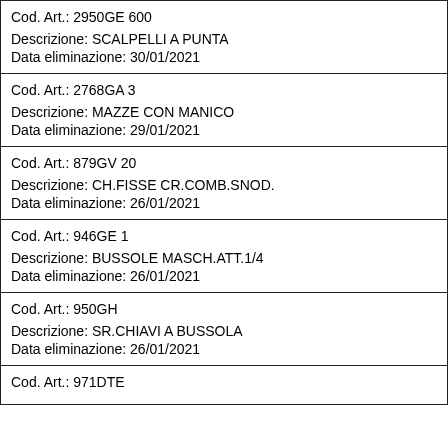| Cod. Art.: 2950GE 600
Descrizione: SCALPELLI A PUNTA
Data eliminazione: 30/01/2021 |
| Cod. Art.: 2768GA 3
Descrizione: MAZZE CON MANICO
Data eliminazione: 29/01/2021 |
| Cod. Art.: 879GV 20
Descrizione: CH.FISSE CR.COMB.SNOD.
Data eliminazione: 26/01/2021 |
| Cod. Art.: 946GE 1
Descrizione: BUSSOLE MASCH.ATT.1/4
Data eliminazione: 26/01/2021 |
| Cod. Art.: 950GH
Descrizione: SR.CHIAVI A BUSSOLA
Data eliminazione: 26/01/2021 |
| Cod. Art.: 971DTE |